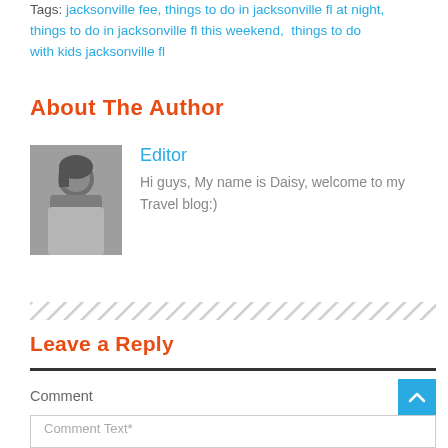Tags: jacksonville fee, things to do in jacksonville fl at night, things to do in jacksonville fl this weekend, things to do with kids jacksonville fl
About The Author
[Figure (photo): Black and white photo of a woman resting her chin on her hand, looking at camera]
Editor
Hi guys, My name is Daisy, welcome to my Travel blog:)
Leave a Reply
Comment
Comment Text*